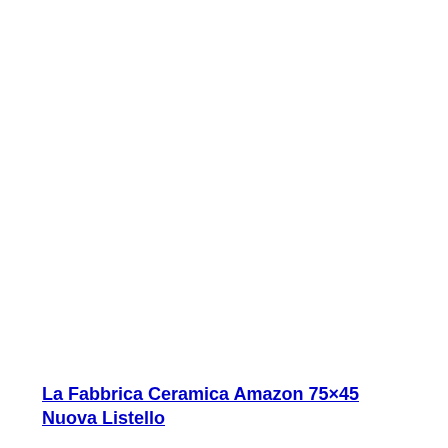La Fabbrica Ceramica Amazon 75×45 Nuova Listello